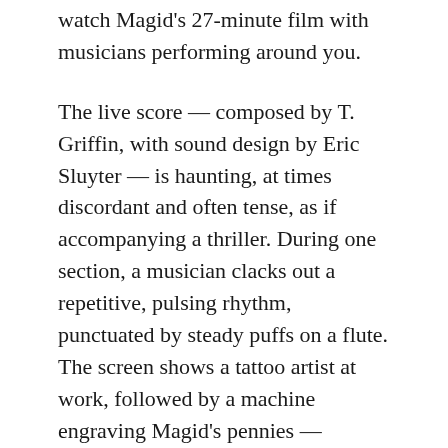watch Magid's 27-minute film with musicians performing around you.
The live score — composed by T. Griffin, with sound design by Eric Sluyter — is haunting, at times discordant and often tense, as if accompanying a thriller. During one section, a musician clacks out a repetitive, pulsing rhythm, punctuated by steady puffs on a flute. The screen shows a tattoo artist at work, followed by a machine engraving Magid's pennies — creative markings on different kinds of bodies. The beat gives way to wavering, droning strings after a shot of an empty gurney inside a makeshift morgue.
“Tender Presence” is thought-provoking and sometimes gripping, but it suffers from being partly about Magid’s work and partly about the pandemic itself. She connects the two conceptually with images of hands, many using cash to pay for bodega purchases, but the premise of